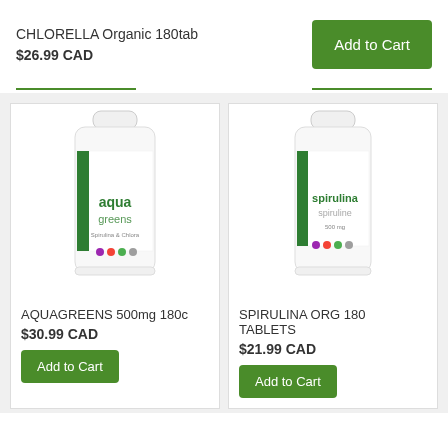CHLORELLA Organic 180tab
$26.99 CAD
Add to Cart
[Figure (photo): Bottle of Aquagreens 500mg supplement with white cap and label reading 'aqua greens spirulina & chlorella']
AQUAGREENS 500mg 180c
$30.99 CAD
Add to Cart
[Figure (photo): Bottle of Spirulina Org 180 Tablets supplement with white cap and green label reading 'spirulina spiruline']
SPIRULINA ORG 180 TABLETS
$21.99 CAD
Add to Cart